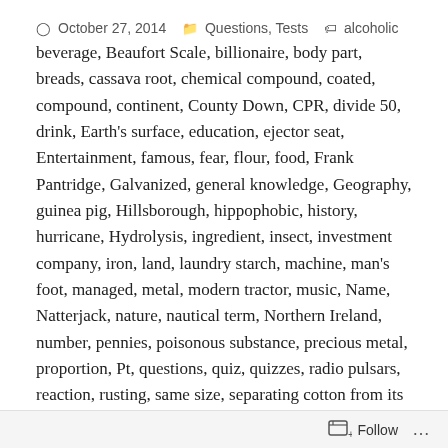October 27, 2014   Questions, Tests   alcoholic beverage, Beaufort Scale, billionaire, body part, breads, cassava root, chemical compound, coated, compound, continent, County Down, CPR, divide 50, drink, Earth's surface, education, ejector seat, Entertainment, famous, fear, flour, food, Frank Pantridge, Galvanized, general knowledge, Geography, guinea pig, Hillsborough, hippophobic, history, hurricane, Hydrolysis, ingredient, insect, investment company, iron, land, laundry starch, machine, man's foot, managed, metal, modern tractor, music, Name, Natterjack, nature, nautical term, Northern Ireland, number, pennies, poisonous substance, precious metal, proportion, Pt, questions, quiz, quizzes, radio pulsars, reaction, rusting, same size, separating cotton from its seed, size, steel, symbol, tapioca, test, tests, The Beatles, velvet ant, Warren Buffet, water, Welsh Rabbit, word
“Fight Against Stupidity And Bureaucracy”